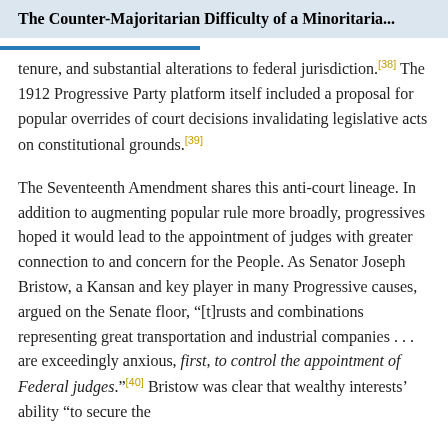The Counter-Majoritarian Difficulty of a Minoritaria...
tenure, and substantial alterations to federal jurisdiction.[38] The 1912 Progressive Party platform itself included a proposal for popular overrides of court decisions invalidating legislative acts on constitutional grounds.[39]
The Seventeenth Amendment shares this anti-court lineage. In addition to augmenting popular rule more broadly, progressives hoped it would lead to the appointment of judges with greater connection to and concern for the People. As Senator Joseph Bristow, a Kansan and key player in many Progressive causes, argued on the Senate floor, “[t]rusts and combinations representing great transportation and industrial companies . . . are exceedingly anxious, first, to control the appointment of Federal judges.”[40] Bristow was clear that wealthy interests’ ability “to secure the